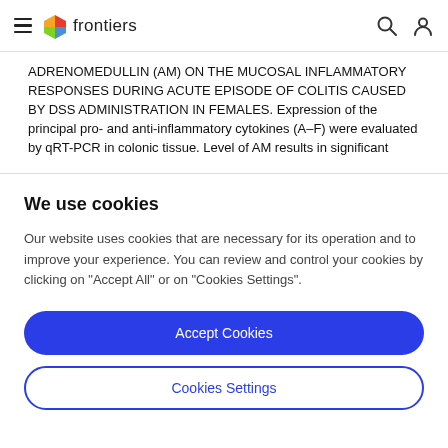frontiers
ADRENOMEDULLIN (AM) ON THE MUCOSAL INFLAMMATORY RESPONSES DURING ACUTE EPISODE OF COLITIS CAUSED BY DSS ADMINISTRATION IN FEMALES. Expression of the principal pro- and anti-inflammatory cytokines (A–F) were evaluated by qRT-PCR in colonic tissue. Level of AM results in significant
We use cookies
Our website uses cookies that are necessary for its operation and to improve your experience. You can review and control your cookies by clicking on "Accept All" or on "Cookies Settings".
Accept Cookies
Cookies Settings